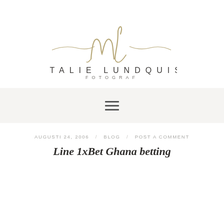[Figure (logo): Natalie Lundquist Fotograf logo with stylized 'nl' monogram in gold script with decorative flourish lines, name in uppercase sans-serif, and 'FOTOGRAF' subtitle]
[Figure (other): Hamburger menu icon with three horizontal lines on light gray background navigation bar]
AUGUSTI 24, 2006 / BLOG / POST A COMMENT
Line 1xBet Ghana betting